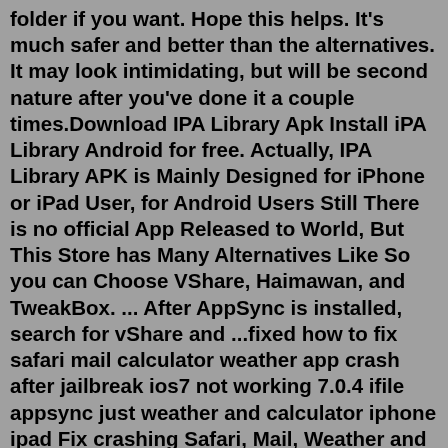folder if you want. Hope this helps. It's much safer and better than the alternatives. It may look intimidating, but will be second nature after you've done it a couple times.Download IPA Library Apk Install iPA Library Android for free. Actually, IPA Library APK is Mainly Designed for iPhone or iPad User, for Android Users Still There is no official App Released to World, But This Store has Many Alternatives Like So you can Choose VShare, Haimawan, and TweakBox. ... After AppSync is installed, search for vShare and ...fixed how to fix safari mail calculator weather app crash after jailbreak ios7 not working 7.0.4 ifile appsync just weather and calculator iphone ipad Fix crashing Safari, Mail, Weather and Calculator here ... Place one by one in a folder named "Payload" compress it to zip and rename .zip to .ipa . Install it with IPAINSTALLER from CYDIA. OR ...AppSync simplifies and automates the process of generating and consuming copies of production data. Overview.